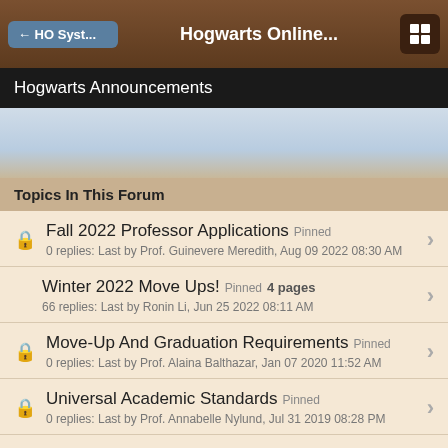← HO Syst...   Hogwarts Online...
Hogwarts Announcements
[Figure (other): Light blue/tan gradient banner area]
Topics In This Forum
Fall 2022 Professor Applications Pinned — 0 replies: Last by Prof. Guinevere Meredith, Aug 09 2022 08:30 AM
Winter 2022 Move Ups! Pinned   4 pages — 66 replies: Last by Ronin Li, Jun 25 2022 08:11 AM
Move-Up And Graduation Requirements Pinned — 0 replies: Last by Prof. Alaina Balthazar, Jan 07 2020 11:52 AM
Universal Academic Standards Pinned — 0 replies: Last by Prof. Annabelle Nylund, Jul 31 2019 08:28 PM
Teaching Assistant Information And Requests Pinned — 8 replies: Last by Prof. Meera Kapur, Today, 08:10 AM
Read First: School Announcements (partial)